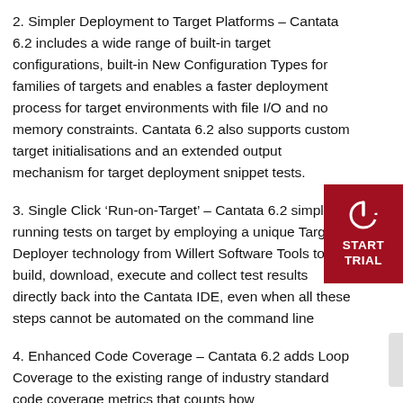2. Simpler Deployment to Target Platforms – Cantata 6.2 includes a wide range of built-in target configurations, built-in New Configuration Types for families of targets and enables a faster deployment process for target environments with file I/O and no memory constraints. Cantata 6.2 also supports custom target initialisations and an extended output mechanism for target deployment snippet tests.
3. Single Click 'Run-on-Target' – Cantata 6.2 simplifies running tests on target by employing a unique Target Deployer technology from Willert Software Tools to build, download, execute and collect test results directly back into the Cantata IDE, even when all these steps cannot be automated on the command line
4. Enhanced Code Coverage – Cantata 6.2 adds Loop Coverage to the existing range of industry standard code coverage metrics that counts how